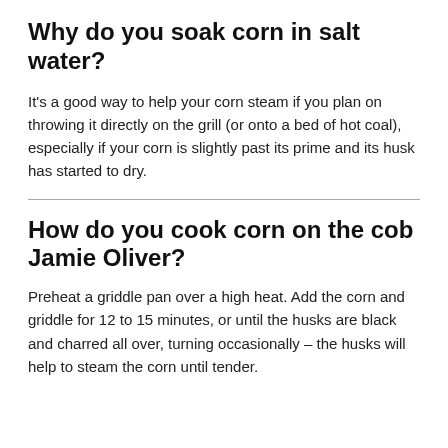Why do you soak corn in salt water?
It's a good way to help your corn steam if you plan on throwing it directly on the grill (or onto a bed of hot coal), especially if your corn is slightly past its prime and its husk has started to dry.
How do you cook corn on the cob Jamie Oliver?
Preheat a griddle pan over a high heat. Add the corn and griddle for 12 to 15 minutes, or until the husks are black and charred all over, turning occasionally – the husks will help to steam the corn until tender.